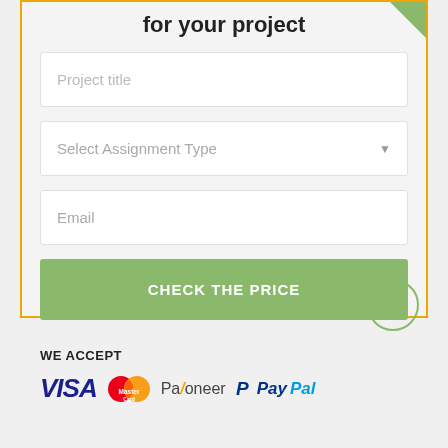for your project
[Figure (screenshot): Web form with fields: Project title (text input), Select Assignment Type (dropdown), Email (text input), and a green CHECK THE PRICE button]
[Figure (infographic): Payment methods logos: VISA, MasterCard, Payoneer, PayPal with WE ACCEPT label]